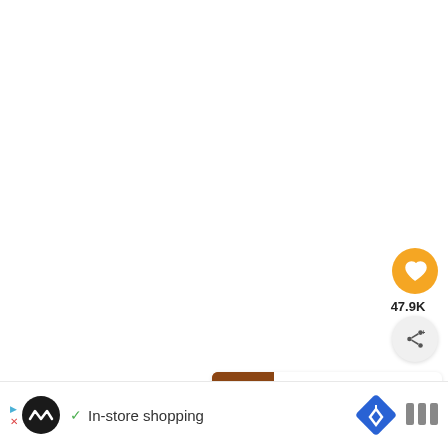[Figure (other): Orange circular like/heart button]
47.9K
[Figure (other): Light gray circular share button with share icon]
[Figure (other): What's Next panel showing Crispy Air Fryer Chicke... with thumbnail]
[Figure (other): Advertisement banner: play/close icons, dark circle logo, checkmark, In-store shopping text, blue diamond road sign icon, and menu icon]